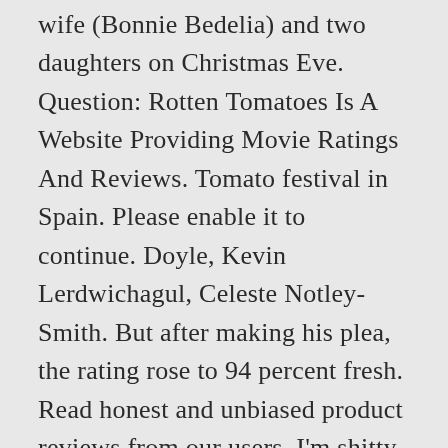wife (Bonnie Bedelia) and two daughters on Christmas Eve. Question: Rotten Tomatoes Is A Website Providing Movie Ratings And Reviews. Tomato festival in Spain. Please enable it to continue. Doyle, Kevin Lerdwichagul, Celeste Notley-Smith. But after making his plea, the rating rose to 94 percent fresh. Read honest and unbiased product reviews from our users. I'm shitty at math so my formula isn't nearly perfect, but I think I have come up with a great, organized list of the top 245 movies of all time. Tomato ratings (Movie, 1990) Rank is based on the total number of votes adjusted with the average rating.Trend represents the amount of new votes submitted during the past